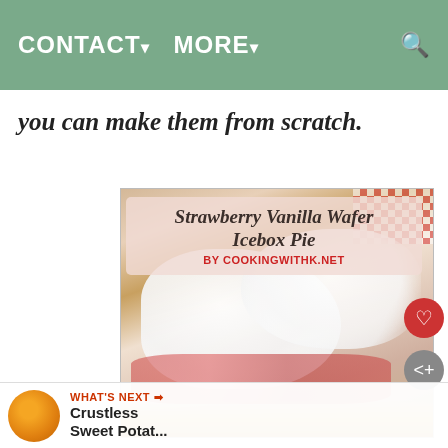CONTACT▾   MORE▾   🔍
you can make them from scratch.
[Figure (photo): Strawberry Vanilla Wafer Icebox Pie with whipped cream topping, showing a slice of pie with visible strawberry filling, vanilla wafer crust, and creamy topping. Overlay text reads 'Strawberry Vanilla Wafer Icebox Pie' and 'by CookingwithK.net']
WHAT'S NEXT ➡ Crustless Sweet Potat...